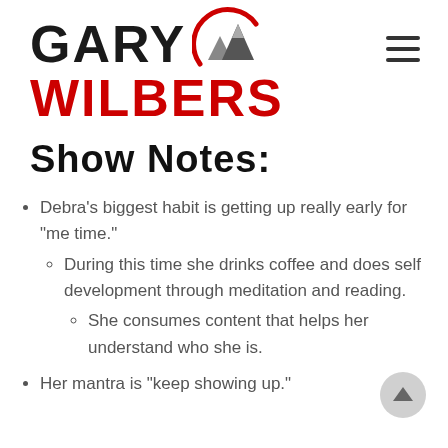[Figure (logo): Gary Wilbers logo with mountain peaks icon inside a red arc. 'GARY' in bold black, 'WILBERS' in bold red, mountain SVG in center-right of top row.]
Show Notes:
Debra’s biggest habit is getting up really early for “me time.”
During this time she drinks coffee and does self development through meditation and reading.
She consumes content that helps her understand who she is.
Her mantra is “keep showing up.”